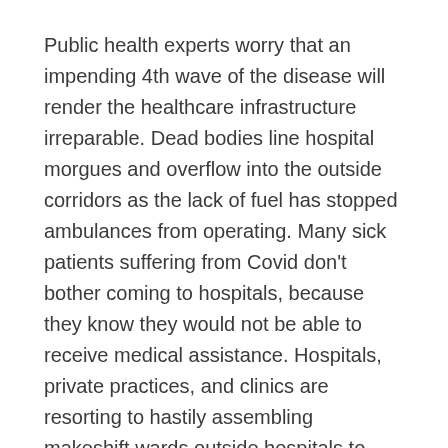Public health experts worry that an impending 4th wave of the disease will render the healthcare infrastructure irreparable. Dead bodies line hospital morgues and overflow into the outside corridors as the lack of fuel has stopped ambulances from operating. Many sick patients suffering from Covid don't bother coming to hospitals, because they know they would not be able to receive medical assistance. Hospitals, private practices, and clinics are resorting to hastily assembling makeshift wards outside hospitals to accommodate Covid patients.
The healthcare situation in Afghanistan has been worsening for years, and in light of the looming public health disaster, much more support from the international community is needed. The snowball effect of international neglect will continue unless